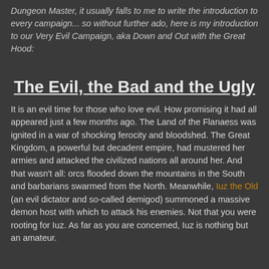Dungeon Master, it usually falls to me to write the introduction to every campaign... so without further ado, here is my introduction to our Very Evil Campaign, aka Down and Out with the Great Hood:
The Evil, the Bad and the Ugly
It is an evil time for those who love evil. How promising it had all appeared just a few months ago. The Land of the Flanaess was ignited in a war of shocking ferocity and bloodshed. The Great Kingdom, a powerful but decadent empire, had mustered her armies and attacked the civilized nations all around her. And that wasn't all: orcs flooded down the mountains in the South and barbarians swarmed from the North. Meanwhile, Iuz the Old (an evil dictator and so-called demigod) summoned a massive demon host with which to attack his enemies. Not that you were rooting for Iuz. As far as you are concerned, Iuz is nothing but an amateur.